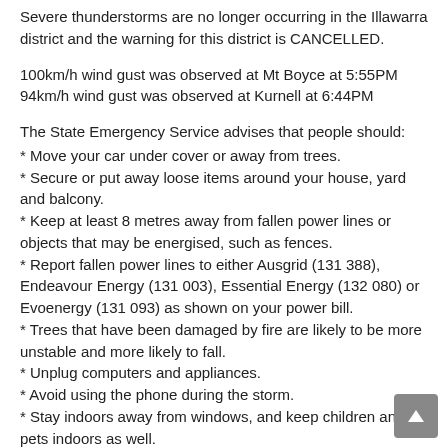Severe thunderstorms are no longer occurring in the Illawarra district and the warning for this district is CANCELLED.
100km/h wind gust was observed at Mt Boyce at 5:55PM
94km/h wind gust was observed at Kurnell at 6:44PM
The State Emergency Service advises that people should:
* Move your car under cover or away from trees.
* Secure or put away loose items around your house, yard and balcony.
* Keep at least 8 metres away from fallen power lines or objects that may be energised, such as fences.
* Report fallen power lines to either Ausgrid (131 388), Endeavour Energy (131 003), Essential Energy (132 080) or Evoenergy (131 093) as shown on your power bill.
* Trees that have been damaged by fire are likely to be more unstable and more likely to fall.
* Unplug computers and appliances.
* Avoid using the phone during the storm.
* Stay indoors away from windows, and keep children and pets indoors as well.